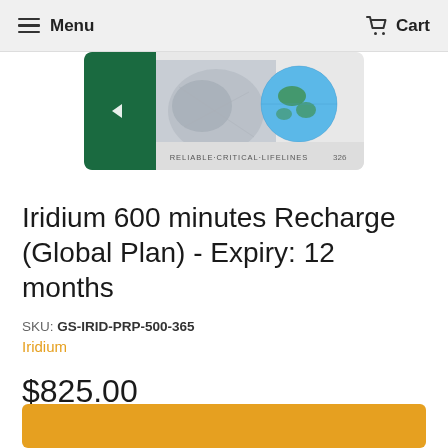Menu  Cart
[Figure (photo): Iridium satellite phone SIM card product image showing a card with dark green section on the left, satellite imagery in the center, a globe on the right, text reading RELIABLE·CRITICAL·LIFELINES and number 326]
Iridium 600 minutes Recharge (Global Plan) - Expiry: 12 months
SKU: GS-IRID-PRP-500-365
Iridium
$825.00